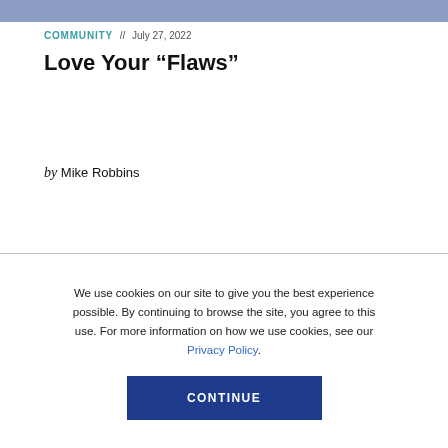COMMUNITY // July 27, 2022
Love Your “Flaws”
by Mike Robbins
We use cookies on our site to give you the best experience possible. By continuing to browse the site, you agree to this use. For more information on how we use cookies, see our Privacy Policy.
CONTINUE